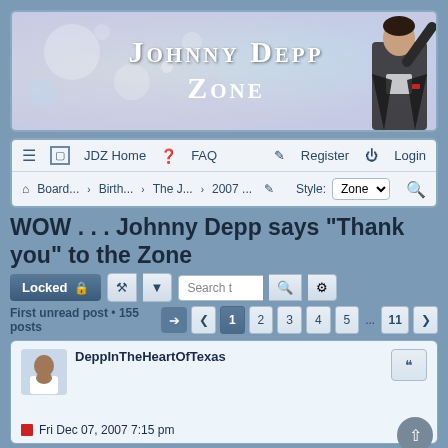[Figure (screenshot): Johnny Depp Zone website banner with colorful bokeh background and person waving]
JDZ Home  FAQ  Register  Login  Board... › Birth... › The J... › 2007 ...  Style: Zone
WOW . . . Johnny Depp says "Thank you" to the Zone
Locked
First unread post • 155 posts  1 2 3 4 5 ... 11
DeppInTheHeartOfTexas
Fri Dec 07, 2007 7:15 pm